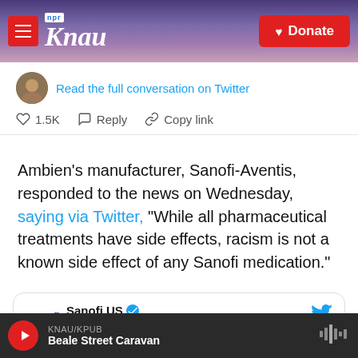[Figure (screenshot): KNAU NPR radio station website header with purple mountain background, hamburger menu button in red, KNAU logo in white italic serif font with NPR tag in blue, and red Donate button with heart icon on the right]
Read the full conversation on Twitter
♡ 1.5K   Reply   Copy link
Ambien's manufacturer, Sanofi-Aventis, responded to the news on Wednesday, saying via Twitter, "While all pharmaceutical treatments have side effects, racism is not a known side effect of any Sanofi medication."
Sanofi US @SanofiUS · Follow
KNAU/KPUB Beale Street Caravan